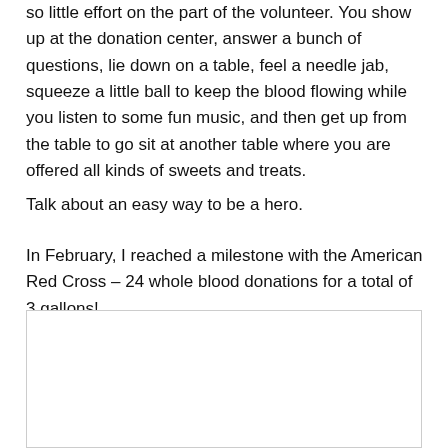so little effort on the part of the volunteer. You show up at the donation center, answer a bunch of questions, lie down on a table, feel a needle jab, squeeze a little ball to keep the blood flowing while you listen to some fun music, and then get up from the table to go sit at another table where you are offered all kinds of sweets and treats.
Talk about an easy way to be a hero.
In February, I reached a milestone with the American Red Cross – 24 whole blood donations for a total of 3 gallons!
[Figure (photo): A white/blank image placeholder box with a light gray border]